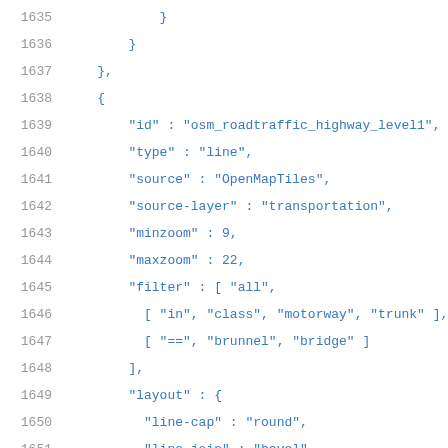Code listing lines 1635-1657 showing JSON configuration for osm_roadtraffic_highway_level1 layer